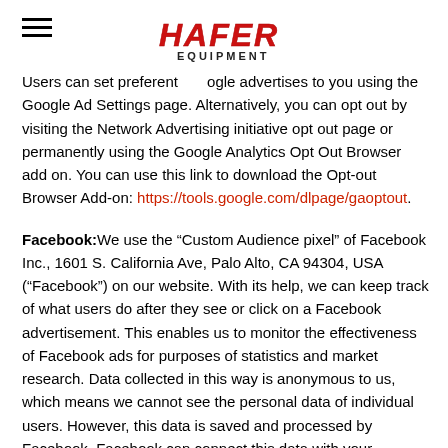HAFER EQUIPMENT [logo]
Users can set preferences how Google advertises to you using the Google Ad Settings page. Alternatively, you can opt out by visiting the Network Advertising initiative opt out page or permanently using the Google Analytics Opt Out Browser add on. You can use this link to download the Opt-out Browser Add-on: https://tools.google.com/dlpage/gaoptout.
Facebook: We use the “Custom Audience pixel” of Facebook Inc., 1601 S. California Ave, Palo Alto, CA 94304, USA (“Facebook”) on our website. With its help, we can keep track of what users do after they see or click on a Facebook advertisement. This enables us to monitor the effectiveness of Facebook ads for purposes of statistics and market research. Data collected in this way is anonymous to us, which means we cannot see the personal data of individual users. However, this data is saved and processed by Facebook. Facebook can connect this data with your Facebook account and use it for its own advertising